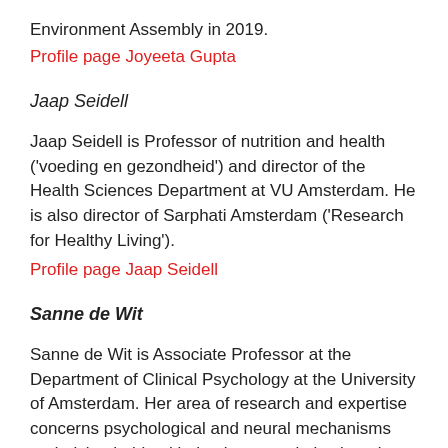Environment Assembly in 2019.
Profile page Joyeeta Gupta
Jaap Seidell
Jaap Seidell is Professor of nutrition and health ('voeding en gezondheid') and director of the Health Sciences Department at VU Amsterdam. He is also director of Sarphati Amsterdam ('Research for Healthy Living').
Profile page Jaap Seidell
Sanne de Wit
Sanne de Wit is Associate Professor at the Department of Clinical Psychology at the University of Amsterdam. Her area of research and expertise concerns psychological and neural mechanisms underlying habitual behavior, associative learning and decision-making.